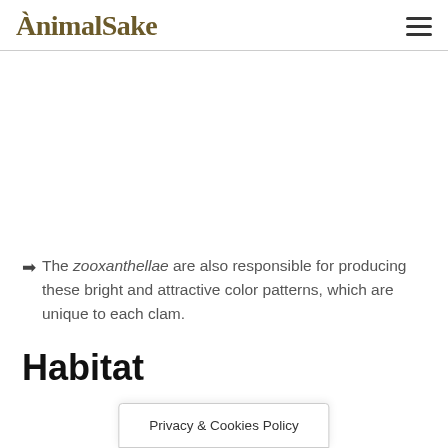AnimalSake
➡ The zooxanthellae are also responsible for producing these bright and attractive color patterns, which are unique to each clam.
Habitat
Privacy & Cookies Policy